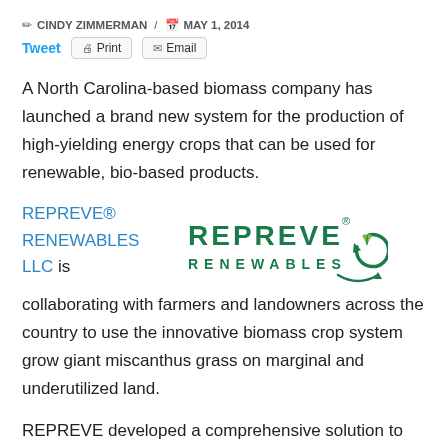✏ CINDY ZIMMERMAN / 📅 MAY 1, 2014
Tweet  [Print]  [Email]
A North Carolina-based biomass company has launched a brand new system for the production of high-yielding energy crops that can be used for renewable, bio-based products.
REPREVE® RENEWABLES LLC is collaborating with farmers and landowners across the country to use the innovative biomass crop system grow giant miscanthus grass on marginal and underutilized land.
[Figure (logo): REPREVE RENEWABLES logo with green text and circular arrow icon with plant graphic]
REPREVE developed a comprehensive solution to the challenge of planting rhizome-propagated crops like miscanthus on a commercial scale, according to Jeff